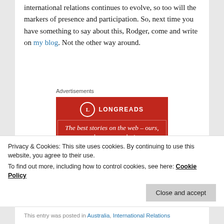international relations continues to evolve, so too will the markers of presence and participation. So, next time you have something to say about this, Rodger, come and write on my blog. Not the other way around.
Advertisements
[Figure (logo): Longreads advertisement banner on red background. Logo with circle L icon and LONGREADS text. Tagline: The best stories on the web – ours, and everyone else's. Start reading button.]
Privacy & Cookies: This site uses cookies. By continuing to use this website, you agree to their use.
To find out more, including how to control cookies, see here: Cookie Policy
This entry was posted in Australia, International Relations